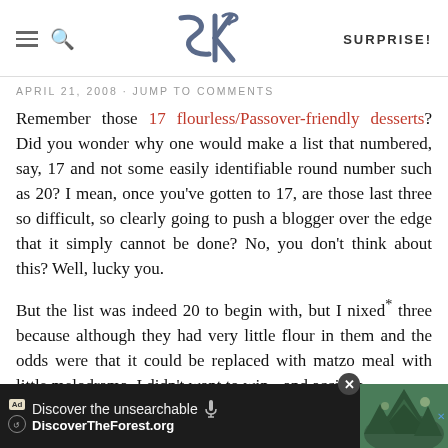SK | SURPRISE!
APRIL 21, 2008 · JUMP TO COMMENTS
Remember those 17 flourless/Passover-friendly desserts? Did you wonder why one would make a list that numbered, say, 17 and not some easily identifiable round number such as 20? I mean, once you've gotten to 17, are those last three so difficult, so clearly going to push a blogger over the edge that it simply cannot be done? No, you don't think about this? Well, lucky you.
But the list was indeed 20 to begin with, but I nixed* three because although they had very little flour in them and the odds were that it could be replaced with matzo meal with little melodrama, I didn't want to win and acciden
[Figure (screenshot): Advertisement bar at bottom: 'Discover the unsearchable' / 'DiscoverTheForest.org' with close button and forest image]